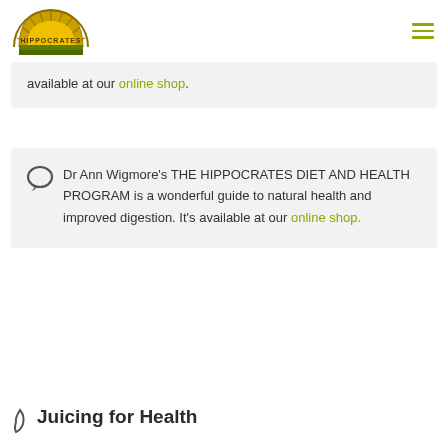Hippocrates logo and navigation menu
available at our online shop.
Dr Ann Wigmore's THE HIPPOCRATES DIET AND HEALTH PROGRAM is a wonderful guide to natural health and improved digestion. It's available at our online shop.
Juicing for Health